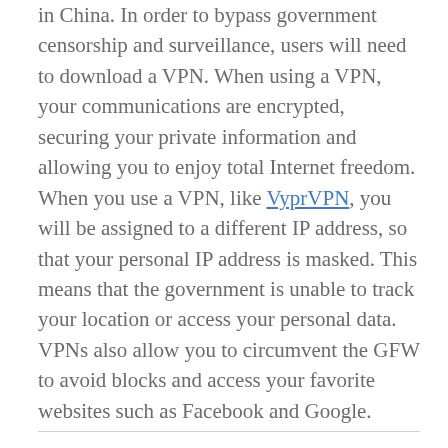in China. In order to bypass government censorship and surveillance, users will need to download a VPN. When using a VPN, your communications are encrypted, securing your private information and allowing you to enjoy total Internet freedom. When you use a VPN, like VyprVPN, you will be assigned to a different IP address, so that your personal IP address is masked. This means that the government is unable to track your location or access your personal data. VPNs also allow you to circumvent the GFW to avoid blocks and access your favorite websites such as Facebook and Google.